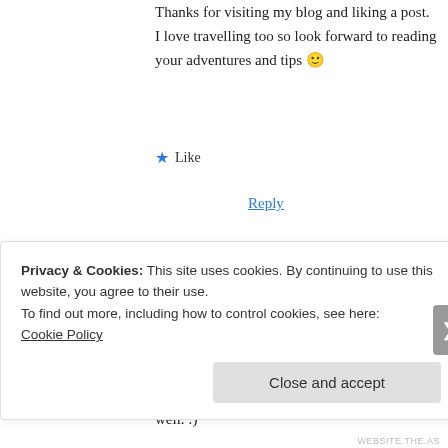Thanks for visiting my blog and liking a post. I love travelling too so look forward to reading your adventures and tips 🙂
★ Like
Reply
Sha  March 27, 2014 at 9:08 pm
Thanks for dropping by! I enjoyed reading your post because i could identify with it as well. :)
Privacy & Cookies: This site uses cookies. By continuing to use this website, you agree to their use.
To find out more, including how to control cookies, see here:
Cookie Policy
Close and accept